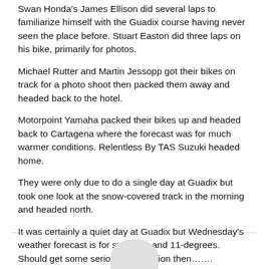Swan Honda's James Ellison did several laps to familiarize himself with the Guadix course having never seen the place before. Stuart Easton did three laps on his bike, primarily for photos.
Michael Rutter and Martin Jessopp got their bikes on track for a photo shoot then packed them away and headed back to the hotel.
Motorpoint Yamaha packed their bikes up and headed back to Cartagena where the forecast was for much warmer conditions. Relentless By TAS Suzuki headed home.
They were only due to do a single day at Guadix but took one look at the snow-covered track in the morning and headed north.
It was certainly a quiet day at Guadix but Wednesday's weather forecast is for sunshine and 11-degrees. Should get some serious track action then…….
[Figure (illustration): A light gray semicircle at the bottom center of the page, partially visible, appearing to be the top of a circular logo or image element.]